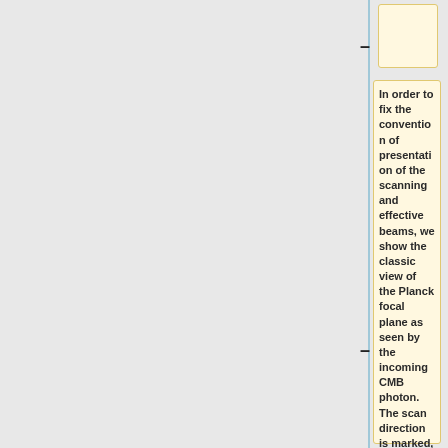[Figure (other): Partial diagram element — top box with highlight background, part of a larger annotated figure of the Planck focal plane]
In order to fix the convention of presentation of the scanning and effective beams, we show the classic view of the Planck focal plane as seen by the incoming CMB photon. The scan direction is marked, and the toward the center of the focal plane is at the 85 deg angle w.r.t spin axis pointing